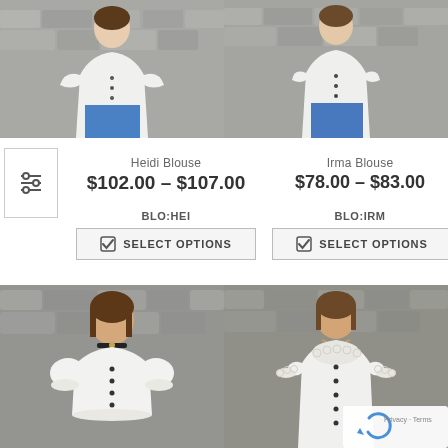[Figure (photo): Two product photos side by side at top: left shows woman in white Heidi Blouse with lace sleeves against stone wall; right shows woman in white Irma Blouse with short sleeves against stone wall]
Heidi Blouse
$102.00 – $107.00
BLO:HEI
SELECT OPTIONS
Irma Blouse
$78.00 – $83.00
BLO:IRM
SELECT OPTIONS
[Figure (photo): Two product photos side by side at bottom: left shows woman in white cropped blouse with puff sleeves and lace trim, wearing black choker, against stone wall; right shows woman in white button-front blouse with lace collar and short sleeves against stone wall, with reCAPTCHA badge in corner]